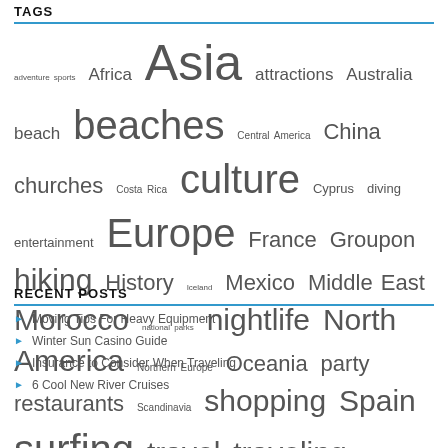TAGS
adventure sports Africa Asia attractions Australia beach beaches Central America China churches Costa Rica culture Cyprus diving entertainment Europe France Groupon hiking History Iceland Mexico Middle East Morocco national parks nightlife North America Northern Europe Oceania party restaurants Scandinavia shopping Spain surfing travel traveling travel tips trekking USA walking waterfalls watersports wildlife ziplining
RECENT POSTS
Moving Tips For Heavy Equipment
Winter Sun Casino Guide
Insurance to Consider When Traveling
6 Cool New River Cruises